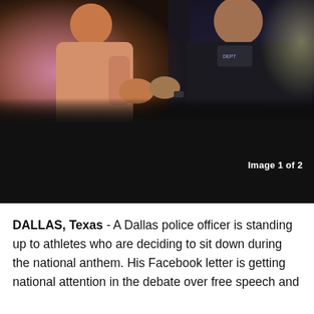[Figure (photo): A police officer interacting with a woman at what appears to be a protest or public event. The officer is in dark uniform with a corporal badge. The background has colorful blurred lights.]
Image 1 of 2
DALLAS, Texas - A Dallas police officer is standing up to athletes who are deciding to sit down during the national anthem. His Facebook letter is getting national attention in the debate over free speech and